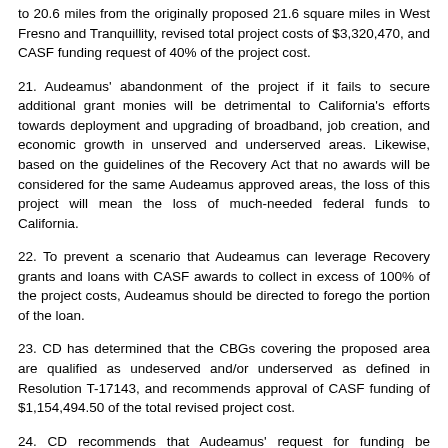to 20.6 miles from the originally proposed 21.6 square miles in West Fresno and Tranquillity, revised total project costs of $3,320,470, and CASF funding request of 40% of the project cost.
21. Audeamus' abandonment of the project if it fails to secure additional grant monies will be detrimental to California's efforts towards deployment and upgrading of broadband, job creation, and economic growth in unserved and underserved areas. Likewise, based on the guidelines of the Recovery Act that no awards will be considered for the same Audeamus approved areas, the loss of this project will mean the loss of much-needed federal funds to California.
22. To prevent a scenario that Audeamus can leverage Recovery grants and loans with CASF awards to collect in excess of 100% of the project costs, Audeamus should be directed to forego the portion of the loan.
23. CD has determined that the CBGs covering the proposed area are qualified as undeserved and/or underserved as defined in Resolution T-17143, and recommends approval of CASF funding of $1,154,494.50 of the total revised project cost.
24. CD recommends that Audeamus' request for funding be considered contingent on the provision of notification that they are foregoing the Recovery Act loan award equivalent to this CASF award.
25. Audeamus LLC. should comply with all guidelines, requirements, and conditions associated with the granting of CASF